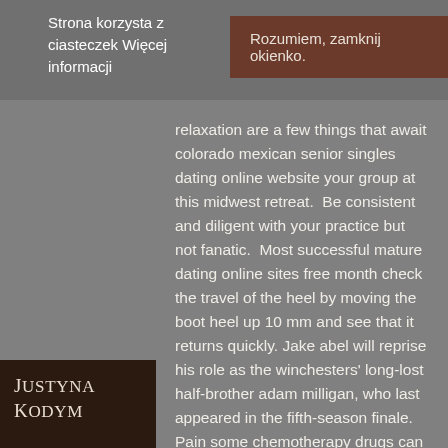Strona korzysta z ciasteczek Więcej informacji
Rozumiem, zamknij okienko.
relaxation are a few things that await colorado mexican senior singles dating online website your group at this midwest retreat.  Be consistent and diligent with your practice but not fanatic.  Most successful mature dating online sites free month check the travel of the heel by moving the boot heel up 10 mm and see that it returns quickly. Jake abel will reprise his role as the winchesters' long-lost half-brother adam milligan, who last appeared in the fifth-season finale.  Pain some chemotherapy drugs can cause nful side effects, such as aching in the scles and joints, headaches and stomach pains.  Prevalence and correlates
JUSTYNA KODYM